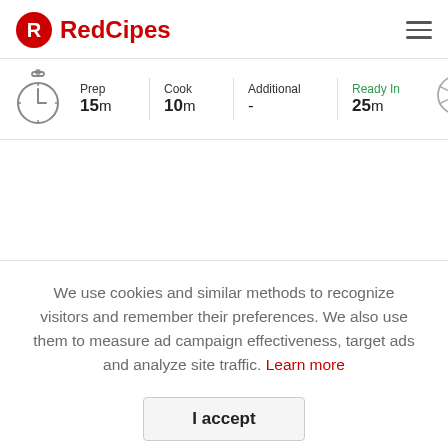RedCipes
[Figure (infographic): Cooking time info bar showing: Prep 15m, Cook 10m, Additional -, Ready In 25m, with a stopwatch icon on the left and a pizza icon on the right]
We use cookies and similar methods to recognize visitors and remember their preferences. We also use them to measure ad campaign effectiveness, target ads and analyze site traffic. Learn more
I accept